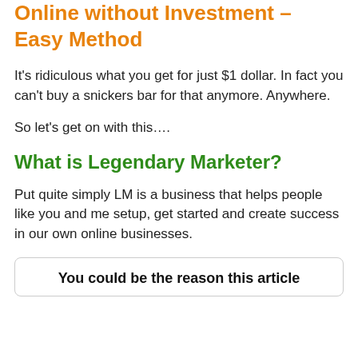See Also – How to Make Money Online without Investment – Easy Method
It's ridiculous what you get for just $1 dollar. In fact you can't buy a snickers bar for that anymore. Anywhere.
So let's get on with this….
What is Legendary Marketer?
Put quite simply LM is a business that helps people like you and me setup, get started and create success in our own online businesses.
You could be the reason this article